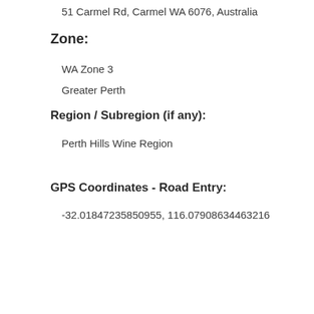51 Carmel Rd, Carmel WA 6076, Australia
Zone:
WA Zone 3
Greater Perth
Region / Subregion (if any):
Perth Hills Wine Region
GPS Coordinates - Road Entry:
-32.01847235850955, 116.07908634463216